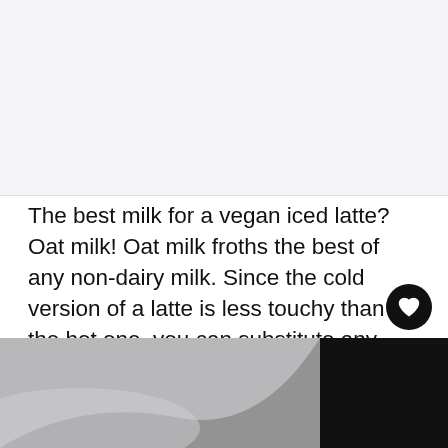[Figure (photo): Top portion showing a light grey/white background area, likely a food or drink photo partially visible]
The best milk for a vegan iced latte? Oat milk! Oat milk froths the best of any non-dairy milk. Since the cold version of a latte is less touchy than the hot one, you can substitute any other non-dairy milk if you choose: almond milk, cashew milk, soy milk, etc.
[Figure (photo): Bottom portion of a food/drink photo showing dark and light areas, likely a glass or cup with liquid]